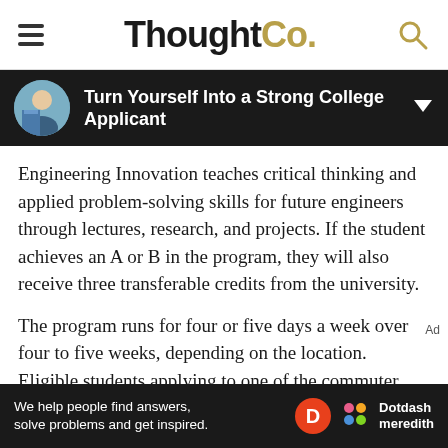ThoughtCo.
Turn Yourself Into a Strong College Applicant
Engineering Innovation teaches critical thinking and applied problem-solving skills for future engineers through lectures, research, and projects. If the student achieves an A or B in the program, they will also receive three transferable credits from the university.
The program runs for four or five days a week over four to five weeks, depending on the location. Eligible students applying to one of the commuter program locations may apply for need-based financial assistance. Most locations offer commuter programs only, but the Johns Hopkins
[Figure (other): Dotdash Meredith advertisement banner: 'We help people find answers, solve problems and get inspired.' with Dotdash Meredith logos]